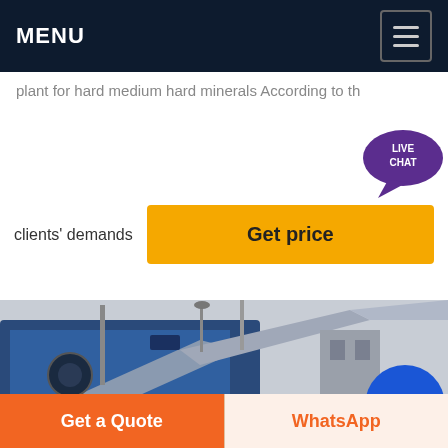MENU
plant for hard medium hard minerals According to the clients' demands
Get price
[Figure (photo): Industrial mineral processing or crushing plant machinery with blue-covered conveyor structures and steel framework against a grey sky. A blue circle UI element overlaid in lower-right.]
Get a Quote
WhatsApp